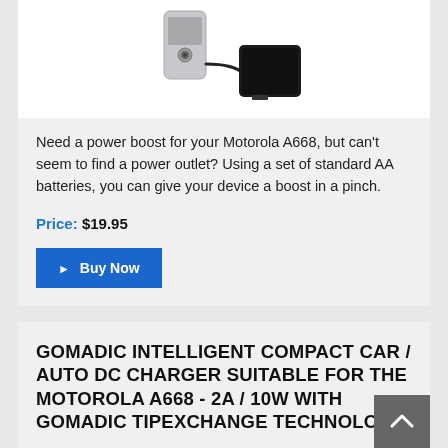[Figure (photo): Product photo of a phone charger/battery pack connected to a mobile phone via cable]
Need a power boost for your Motorola A668, but can't seem to find a power outlet? Using a set of standard AA batteries, you can give your device a boost in a pinch.
Price: $19.95
▶ Buy Now
GOMADIC INTELLIGENT COMPACT CAR / AUTO DC CHARGER SUITABLE FOR THE MOTOROLA A668 - 2A / 10W WITH GOMADIC TIPEXCHANGE TECHNOLOGY